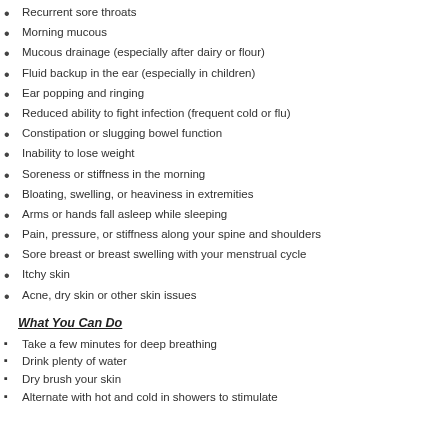Recurrent sore throats
Morning mucous
Mucous drainage (especially after dairy or flour)
Fluid backup in the ear (especially in children)
Ear popping and ringing
Reduced ability to fight infection (frequent cold or flu)
Constipation or slugging bowel function
Inability to lose weight
Soreness or stiffness in the morning
Bloating, swelling, or heaviness in extremities
Arms or hands fall asleep while sleeping
Pain, pressure, or stiffness along your spine and shoulders
Sore breast or breast swelling with your menstrual cycle
Itchy skin
Acne, dry skin or other skin issues
What You Can Do
Take a few minutes for deep breathing
Drink plenty of water
Dry brush your skin
Alternate with hot and cold in showers to stimulate